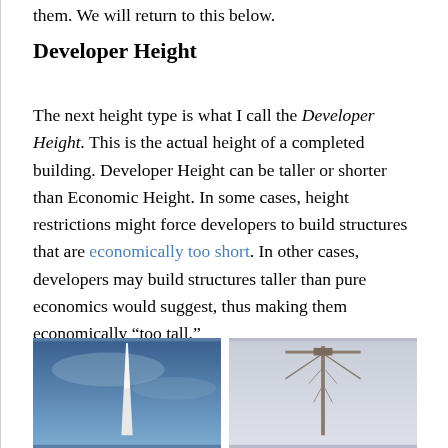them. We will return to this below.
Developer Height
The next height type is what I call the Developer Height. This is the actual height of a completed building. Developer Height can be taller or shorter than Economic Height. In some cases, height restrictions might force developers to build structures that are economically too short. In other cases, developers may build structures taller than pure economics would suggest, thus making them economically “too tall.”
[Figure (photo): Photo of a tall slender skyscraper spire against a blue sky]
[Figure (photo): Photo of a construction crane or tower structure against a light sky]